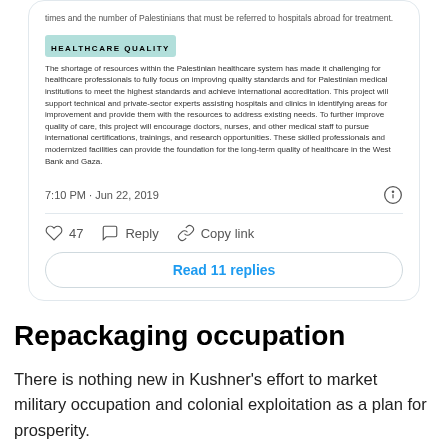[Figure (screenshot): Screenshot of a tweet/social media post showing a healthcare quality section about Palestinian healthcare system, with timestamp 7:10 PM · Jun 22, 2019, and action buttons: 47 likes, Reply, Copy link, and Read 11 replies button.]
Repackaging occupation
There is nothing new in Kushner's effort to market military occupation and colonial exploitation as a plan for prosperity.
In the early 1990s, when the Oslo accords were signed, media hyped that Gaza would turn into a "Hong Kong on the